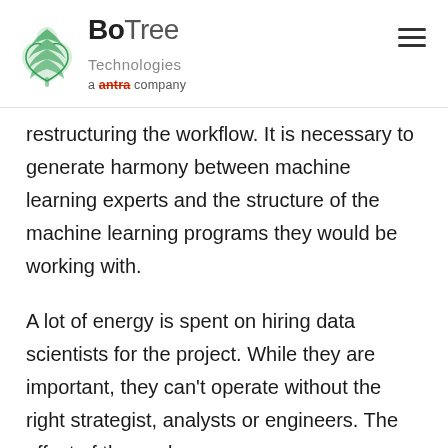[Figure (logo): BoTree Technologies logo with green tree icon and 'a antra company' tagline]
restructuring the workflow. It is necessary to generate harmony between machine learning experts and the structure of the machine learning programs they would be working with.
A lot of energy is spent on hiring data scientists for the project. While they are important, they can't operate without the right strategist, analysts or engineers. The effect of the work...